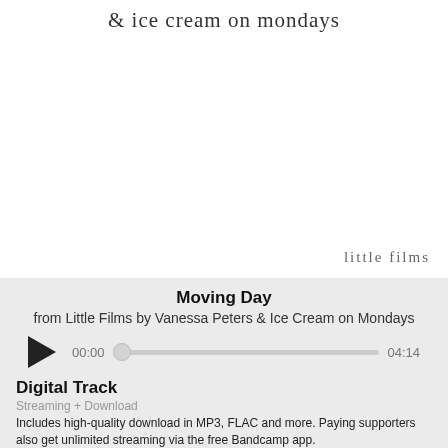[Figure (illustration): Album art for 'Little Films' by Vanessa Peters and Ice Cream on Mondays. White background with stylized text '& ice cream on mondays' at top and 'little films' in the lower right corner.]
Moving Day
from Little Films by Vanessa Peters & Ice Cream on Mondays
[Figure (other): Audio player with play button, time display 00:00, slider bar with thumb at start, and end time 04:14]
Digital Track
Streaming + Download
Includes high-quality download in MP3, FLAC and more. Paying supporters also get unlimited streaming via the free Bandcamp app.
Buy Digital Track  name your price